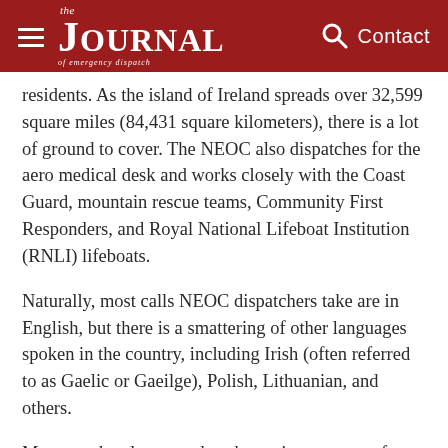the JOURNAL of emergency dispatch | Contact
residents. As the island of Ireland spreads over 32,599 square miles (84,431 square kilometers), there is a lot of ground to cover. The NEOC also dispatches for the aero medical desk and works closely with the Coast Guard, mountain rescue teams, Community First Responders, and Royal National Lifeboat Institution (RNLI) lifeboats.
Naturally, most calls NEOC dispatchers take are in English, but there is a smattering of other languages spoken in the country, including Irish (often referred to as Gaelic or Gaeilge), Polish, Lithuanian, and others.
Murray, who also served as the project manager for accreditation, said the NEOC fields about 13,000 emergency calls per month using the Medical Priority Dispatch System (MPDS). It was apparent to Murray and her colleagues NAS